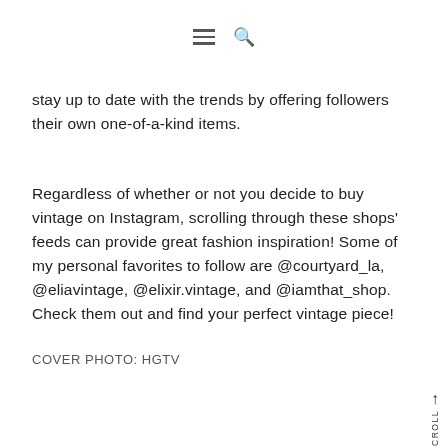≡ 🔍
stay up to date with the trends by offering followers their own one-of-a-kind items.
Regardless of whether or not you decide to buy vintage on Instagram, scrolling through these shops' feeds can provide great fashion inspiration! Some of my personal favorites to follow are @courtyard_la, @eliavintage, @elixir.vintage, and @iamthat_shop. Check them out and find your perfect vintage piece!
COVER PHOTO: HGTV
About Chloe